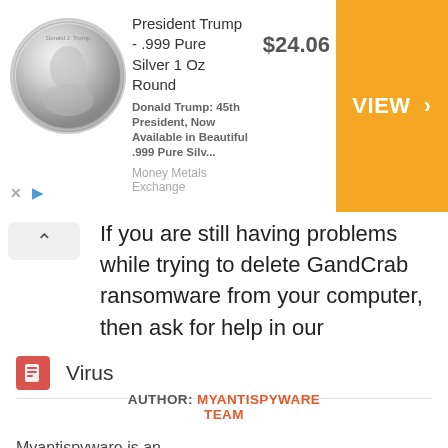[Figure (other): Advertisement banner for President Trump .999 Pure Silver 1 Oz Round coin. Shows coin image, price $24.06, and orange VIEW button. Source: Money Metals Exchange.]
If you are still having problems while trying to delete GandCrab ransomware from your computer, then ask for help in our Spyware/Malware removal forum.
Virus
AUTHOR: MYANTISPYWARE TEAM
Myantispyware is an information security